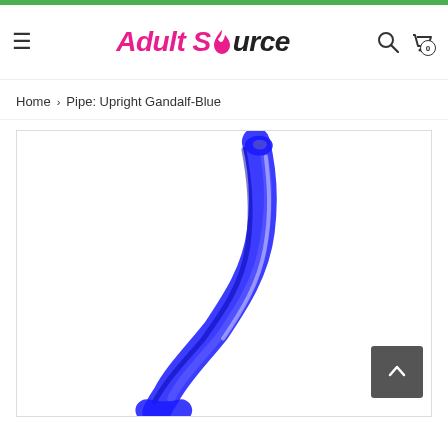Adult Source - website header with logo, hamburger menu, search and cart icons
Home › Pipe: Upright Gandalf-Blue
[Figure (photo): Blue glass Gandalf-style upright pipe, showing the long curved neck of the pipe against a white background]